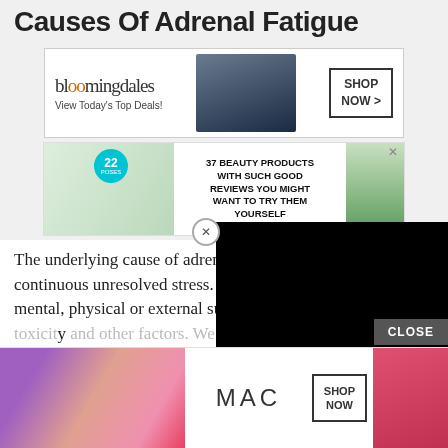Causes Of Adrenal Fatigue
[Figure (screenshot): Bloomingdales advertisement banner: logo, 'View Today's Top Deals!', model with hat, SHOP NOW button]
[Figure (screenshot): Beauty products ad: '37 BEAUTY PRODUCTS WITH SUCH GOOD REVIEWS YOU MIGHT WANT TO TRY THEM YOURSELF' with skincare product images and '22 poses' badge]
[Figure (screenshot): Black video overlay panel covering right portion of page]
The underlying cause of adrenal [fatigue is ongoing] continuous unresolved stress. The stress can be emotional, mental, physical or external such as; poor diet, heavy metal toxicity [and other factors. We] exercis[e...] ough
[Figure (screenshot): MAC cosmetics advertisement with lipsticks, MAC logo, and SHOP NOW button]